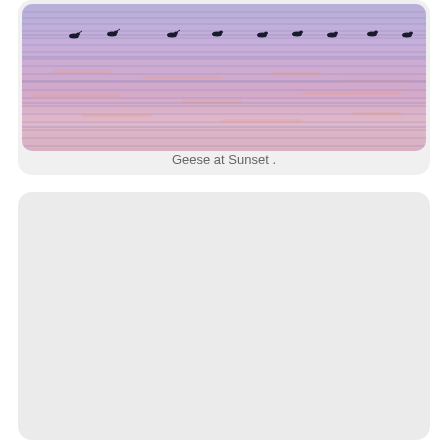[Figure (photo): Photograph of geese sitting on water at sunset, with purple and pink rippling reflections across the water surface. Multiple geese silhouettes are visible along the horizon line.]
Geese at Sunset .
[Figure (other): Empty light gray card/placeholder area with rounded corners, no content.]